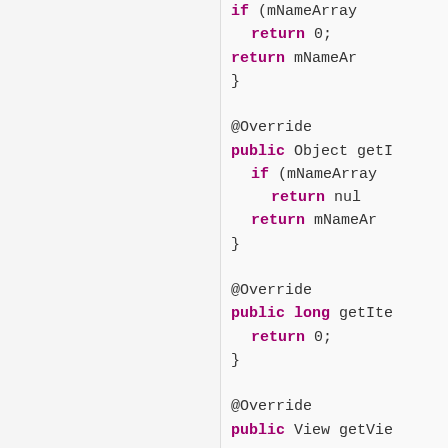Code snippet showing Java Android adapter methods: getCount, getItem, getItemId, getView with partial visibility on right side of page